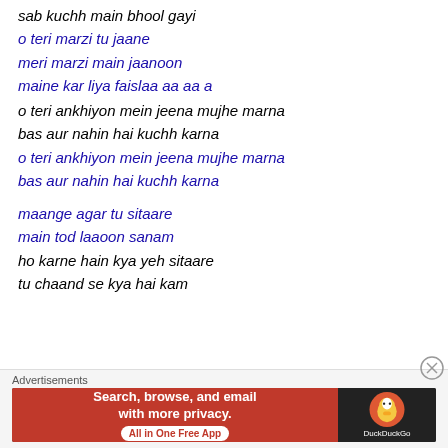sab kuchh main bhool gayi
o teri marzi tu jaane
meri marzi main jaanoon
maine kar liya faislaa aa aa a
o teri ankhiyon mein jeena mujhe marna
bas aur nahin hai kuchh karna
o teri ankhiyon mein jeena mujhe marna
bas aur nahin hai kuchh karna
maange agar tu sitaare
main tod laaoon sanam
ho karne hain kya yeh sitaare
tu chaand se kya hai kam
Advertisements
[Figure (other): DuckDuckGo advertisement banner: Search, browse, and email with more privacy. All in One Free App.]